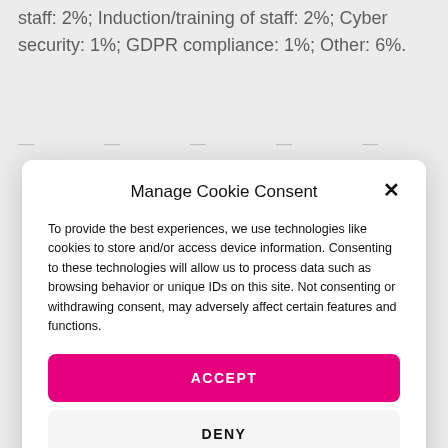staff: 2%; Induction/training of staff: 2%; Cyber security: 1%; GDPR compliance: 1%; Other: 6%.
(blurred/obscured background text)
Manage Cookie Consent
To provide the best experiences, we use technologies like cookies to store and/or access device information. Consenting to these technologies will allow us to process data such as browsing behavior or unique IDs on this site. Not consenting or withdrawing consent, may adversely affect certain features and functions.
ACCEPT
DENY
VIEW PREFERENCES
Terms & Conditions